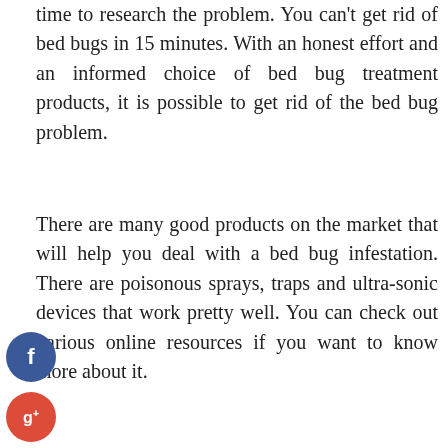time to research the problem. You can't get rid of bed bugs in 15 minutes. With an honest effort and an informed choice of bed bug treatment products, it is possible to get rid of the bed bug problem.
There are many good products on the market that will help you deal with a bed bug infestation. There are poisonous sprays, traps and ultra-sonic devices that work pretty well. You can check out various online resources if you want to know more about it.
[Figure (infographic): Social media share icons: Facebook (blue circle with f), Google+ (red circle with g+), Twitter (blue circle with bird), Plus (dark circle with +). Share row with twitter and linkedin icons, a horizontal line, and Continue Reading button.]
Business and Management
Buying Noguchi Table On Sale